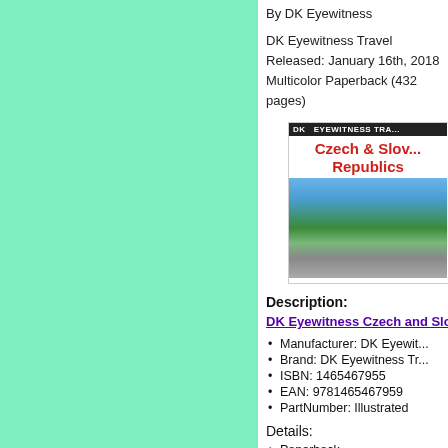By DK Eyewitness
DK Eyewitness Travel
Released: January 16th, 2018
Multicolor Paperback (432 pages)
[Figure (illustration): Book cover of DK Eyewitness Czech and Slovak Republics travel guide]
Description:
DK Eyewitness Czech and Slo...
Manufacturer: DK Eyewit...
Brand: DK Eyewitness Tr...
ISBN: 1465467955
EAN: 9781465467959
PartNumber: Illustrated
Details:
Paperback
Format: Illustrated